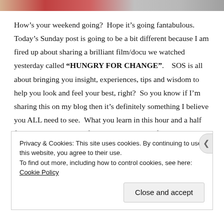[Figure (photo): Partial top image strip showing colorful food or banner image]
How's your weekend going?  Hope it's going fantabulous.  Today's Sunday post is going to be a bit different because I am fired up about sharing a brilliant film/docu we watched yesterday called “HUNGRY FOR CHANGE”.    SOS is all about bringing you insight, experiences, tips and wisdom to help you look and feel your best, right?  So you know if I’m sharing this on my blog then it’s definitely something I believe you ALL need to see.  What you learn in this hour and a half film will change your life!  Here’s an excerpt from the website:
Privacy & Cookies: This site uses cookies. By continuing to use this website, you agree to their use.
To find out more, including how to control cookies, see here: Cookie Policy
Close and accept